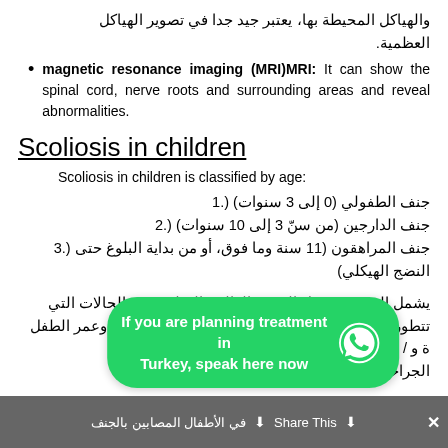والهياكل المحيطة بها، يعتبر جيد جدا في تصوير الهياكل العظمية.
magnetic resonance imaging (MRI)MRI: It can show the spinal cord, nerve roots and surrounding areas and reveal abnormalities.
Scoliosis in children
Scoliosis in children is classified by age:
جنف الطفولي (0 إلى 3 سنوات) (.1
جنف الدارجين (من سنّ 3 إلى 10 سنوات) (.2
جنف المراهقون (11 سنة وما فوق، أو من بداية البلوغ حتى (.3 النضج الهيكلي)
يشمل الجنف مجهول السبب الغالبية العظمى من الحالات التي تتطور خلال فترة المراهقة، اعتماداً على شدة الجنف وعمر الطفل ... و / أو التدعيم و / أو الجراحة.
في الأطفال المصابين بالجنف هناك زيادة مثبتة في ...